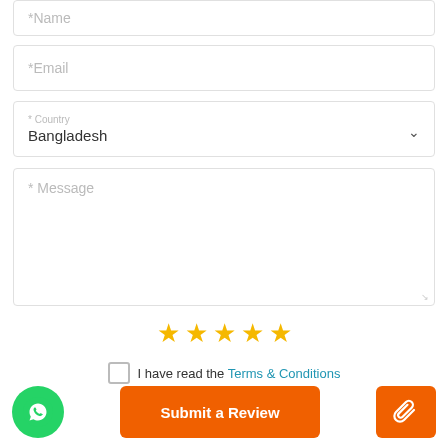* Name
* Email
* Country — Bangladesh
* Message
[Figure (other): Five gold star rating icons]
I have read the Terms & Conditions
[Figure (other): Green WhatsApp button, orange Submit a Review button, orange attachment button]